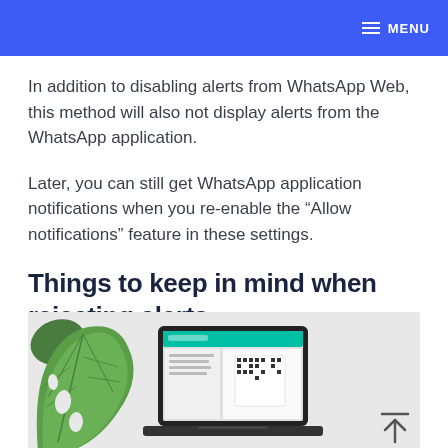MENU
In addition to disabling alerts from WhatsApp Web, this method will also not display alerts from the WhatsApp application.
Later, you can still get WhatsApp application notifications when you re-enable the “Allow notifications” feature in these settings.
Things to keep in mind when rejecting alerts
[Figure (photo): Photo of a laptop displaying WhatsApp Web with a QR code on screen, accompanied by a green monstera leaf in the upper left corner, on a light gray background.]